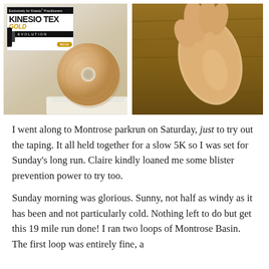[Figure (photo): Product photo of Kinesio Tex Gold kinesiology tape roll with packaging, shown on a light background with tape unrolled slightly.]
[Figure (photo): Photo of a person's hand and wrist against a wooden surface, likely demonstrating kinesio tape application on the wrist/arm area.]
I went along to Montrose parkrun on Saturday, just to try out the taping. It all held together for a slow 5K so I was set for Sunday’s long run. Claire kindly loaned me some blister prevention power to try too.
Sunday morning was glorious. Sunny, not half as windy as it has been and not particularly cold. Nothing left to do but get this 19 mile run done! I ran two loops of Montrose Basin. The first loop was entirely fine, a